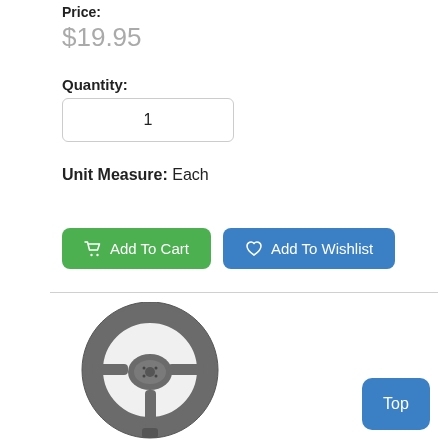Price:
$19.95
Quantity:
1
Unit Measure:  Each
Add To Cart
Add To Wishlist
[Figure (photo): A gray plastic toy steering wheel product photo]
Top